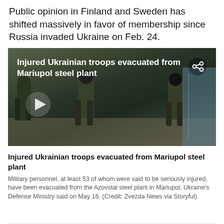Public opinion in Finland and Sweden has shifted massively in favor of membership since Russia invaded Ukraine on Feb. 24.
[Figure (photo): Video thumbnail showing military personnel in camouflage uniforms walking toward a vehicle or building entrance, with overlay text 'Injured Ukrainian troops evacuated from Mariupol steel plant' and a play button icon.]
Injured Ukrainian troops evacuated from Mariupol steel plant
Military personnel, at least 53 of whom were said to be seriously injured, have been evacuated from the Azovstal steel plant in Mariupol, Ukraine's Defense Ministry said on May 16. (Credit: Zvezda News via Storyful)